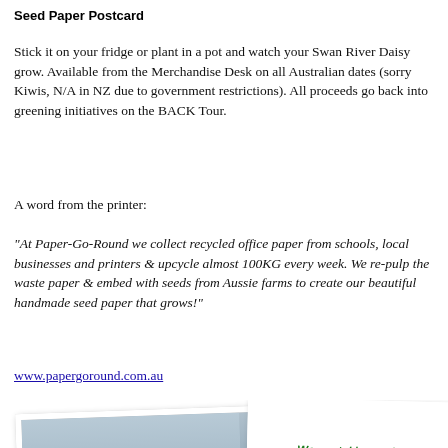Seed Paper Postcard
Stick it on your fridge or plant in a pot and watch your Swan River Daisy grow. Available from the Merchandise Desk on all Australian dates (sorry Kiwis, N/A in NZ due to government restrictions). All proceeds go back into greening initiatives on the BACK Tour.
A word from the printer:
“At Paper-Go-Round we collect recycled office paper from schools, local businesses and printers & upcycle almost 100KG every week. We re-pulp the waste paper & embed with seeds from Aussie farms to create our beautiful handmade seed paper that grows!”
www.papergoround.com.au
[Figure (photo): A person (silhouette) standing against a misty landscape background, displayed as a polaroid-style tilted photo card]
[Figure (other): A white card with green bold italic text reading: We are taking action for our environment. All proceeds of this towards greening. Learn...]